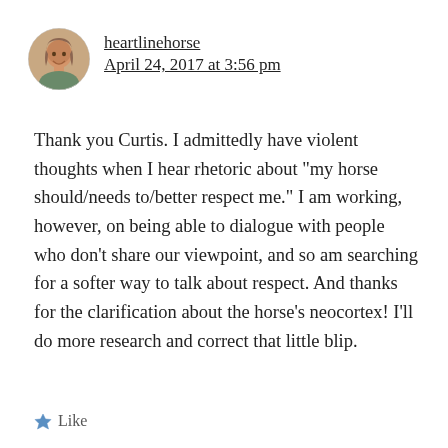heartlinehorse
April 24, 2017 at 3:56 pm
Thank you Curtis. I admittedly have violent thoughts when I hear rhetoric about “my horse should/needs to/better respect me.” I am working, however, on being able to dialogue with people who don’t share our viewpoint, and so am searching for a softer way to talk about respect. And thanks for the clarification about the horse’s neocortex! I’ll do more research and correct that little blip.
Like